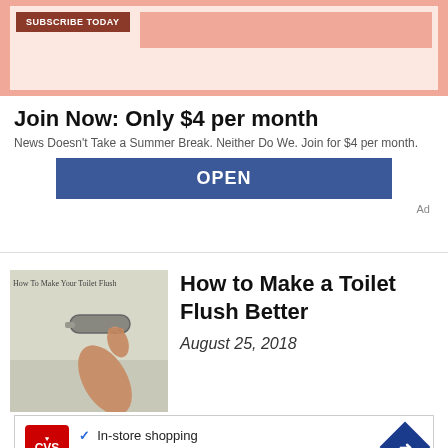[Figure (screenshot): Top subscription ad banner with salmon/pink background, 'SUBSCRIBE TODAY' button and pink box]
Join Now: Only $4 per month
News Doesn't Take a Summer Break. Neither Do We. Join for $4 per month.
OPEN
Ad
[Figure (photo): Thumbnail image of a hand pressing a toilet flush handle with text overlay 'How To Make Your Toilet Flush']
How to Make a Toilet Flush Better
August 25, 2018
[Figure (screenshot): CVS Pharmacy advertisement with checkmarks for In-store shopping, Drive-through, and Delivery, plus a navigation/map arrow icon]